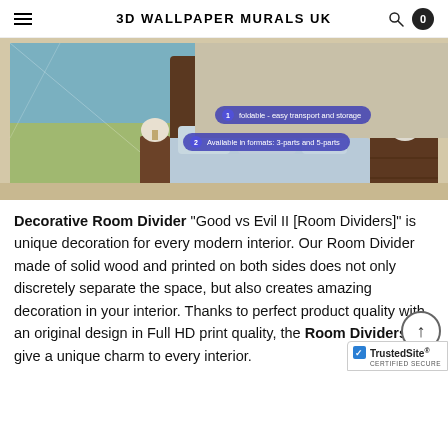3D WALLPAPER MURALS UK
[Figure (photo): A bedroom scene showing a decorative room divider/folding screen with a nature mural print displayed behind a bed with light blue bedding and pillows, with wooden nightstands and lamps. Two tooltip overlays read: '1 foldable - easy transport and storage' and '2 Available in formats: 3-parts and 5-parts']
Decorative Room Divider “Good vs Evil II [Room Dividers]” is unique decoration for every modern interior. Our Room Divider made of solid wood and printed on both sides does not only discretely separate the space, but also creates amazing decoration in your interior. Thanks to perfect product quality with an original design in Full HD print quality, the Room Dividers give a unique charm to every interior.